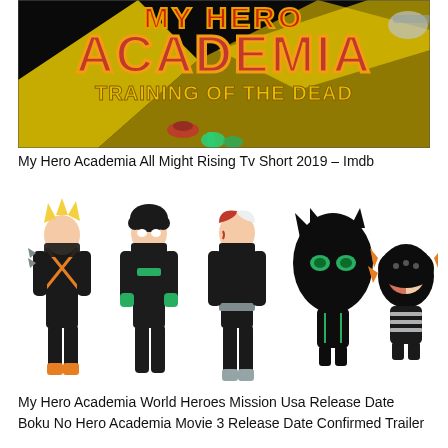[Figure (illustration): My Hero Academia Training of the Dead anime promotional banner with title text in red and gold on black background with lightning bolt yellow design elements and character figures]
My Hero Academia All Might Rising Tv Short 2019 – Imdb
[Figure (illustration): My Hero Academia World Heroes Mission character lineup showing five anime characters in black stealth costumes: Bakugo, Midoriya, Todoroki in full body, and two smaller chibi-style versions of Deku and Todoroki characters]
My Hero Academia World Heroes Mission Usa Release Date Boku No Hero Academia Movie 3 Release Date Confirmed Trailer